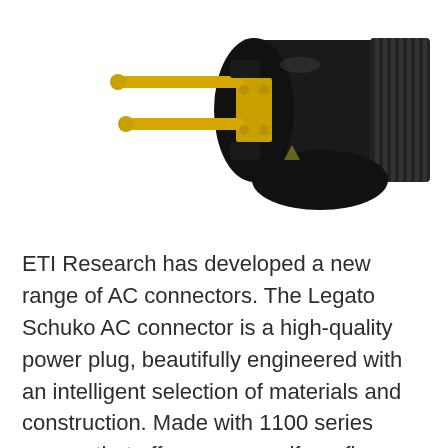[Figure (photo): Close-up photo of a black Legato Schuko AC power connector plug with gold-plated pins against a white background. The plug has two round gold pins and a cylindrical black body with ridged grip.]
ETI Research has developed a new range of AC connectors. The Legato Schuko AC connector is a high-quality power plug, beautifully engineered with an intelligent selection of materials and construction. Made with 1100 series copper that offers a very uniform fine grain structure, with an IACS rating of 102%. Without adverse constraints that brass or other alloys impose on the copper, that the best...